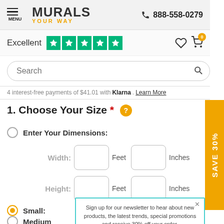MENU | MURALS YOUR WAY | 888-558-0279
Excellent ★★★★★
Search
4 interest-free payments of $41.01 with Klarna. Learn More
1. Choose Your Size *
Enter Your Dimensions:
Width: Feet Inches
Height: Feet Inches
Small:
Medium
Large:
Sign up for our newsletter to hear about new products, the latest trends, special promotions and receive 30% off your order.
Sign Up
No thanks